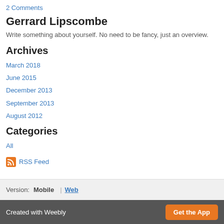2 Comments
Gerrard Lipscombe
Write something about yourself. No need to be fancy, just an overview.
Archives
March 2018
June 2015
December 2013
September 2013
August 2012
Categories
All
RSS Feed
Version: Mobile | Web
Created with Weebly